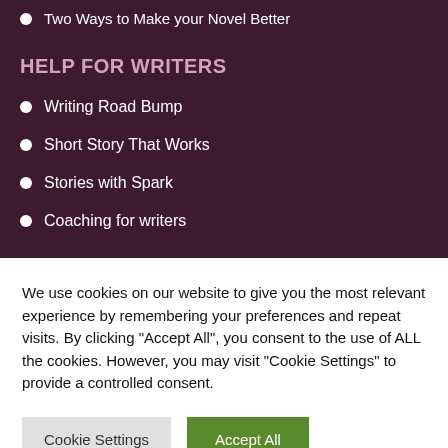Two Ways to Make your Novel Better
HELP FOR WRITERS
Writing Road Bump
Short Story That Works
Stories with Spark
Coaching for writers
We use cookies on our website to give you the most relevant experience by remembering your preferences and repeat visits. By clicking "Accept All", you consent to the use of ALL the cookies. However, you may visit "Cookie Settings" to provide a controlled consent.
Cookie Settings
Accept All